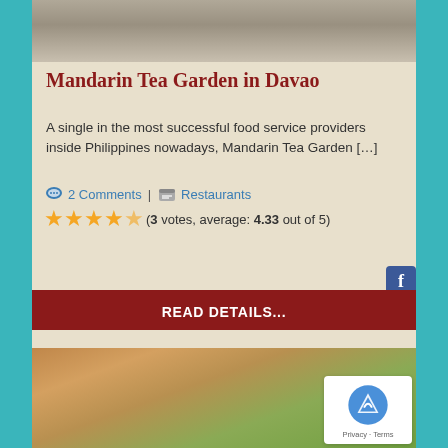[Figure (photo): Grayscale photo partially visible at top, showing an outdoor scene with a vehicle or cart in background]
Mandarin Tea Garden in Davao
A single in the most successful food service providers inside Philippines nowadays, Mandarin Tea Garden […]
2 Comments | Restaurants
(3 votes, average: 4.33 out of 5)
READ DETAILS...
[Figure (photo): Color photo of food dish — appears to be a bowl of mixed food with sauce, partially visible at bottom of page]